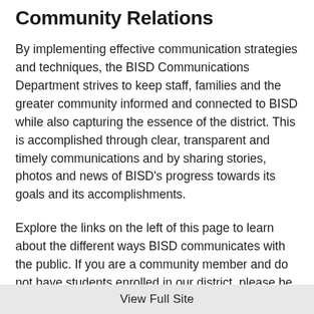Community Relations
By implementing effective communication strategies and techniques, the BISD Communications Department strives to keep staff, families and the greater community informed and connected to BISD while also capturing the essence of the district. This is accomplished through clear, transparent and timely communications and by sharing stories, photos and news of BISD's progress towards its goals and its accomplishments.
Explore the links on the left of this page to learn about the different ways BISD communicates with the public. If you are a community member and do not have students enrolled in our district, please be sure to subscribe to our
View Full Site